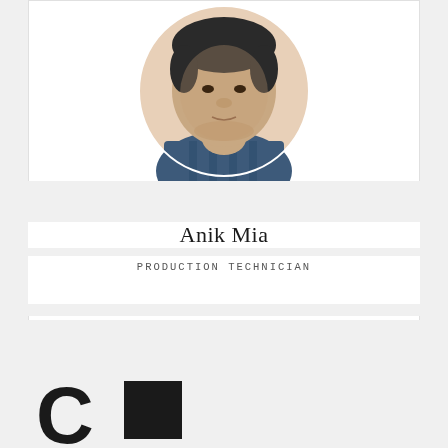[Figure (photo): Circular headshot photo of a person wearing a blue patterned shirt, cropped at the top of the page]
Anik Mia
PRODUCTION TECHNICIAN
[Figure (logo): Partial logo visible at bottom of page — large bold letter C followed by a solid dark square, partially cropped]